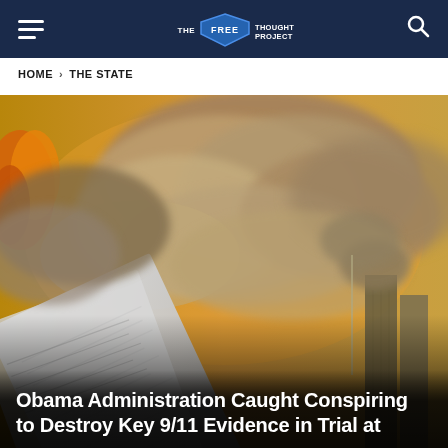THE FREE THOUGHT PROJECT
HOME › THE STATE
[Figure (photo): Composite photo: a stack of documents in the foreground (lower left), with the World Trade Center towers in background releasing enormous billowing smoke clouds against a yellowish-orange sky. Dramatic 9/11 imagery.]
Obama Administration Caught Conspiring to Destroy Key 9/11 Evidence in Trial at